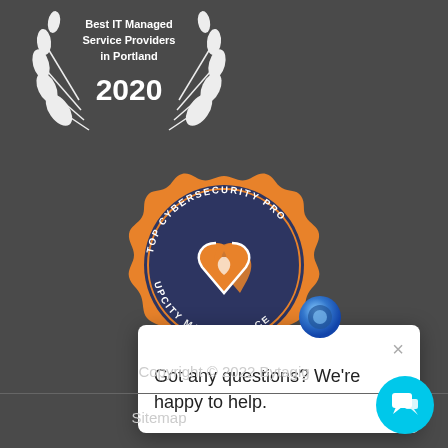[Figure (logo): Partial award badge showing 'Best IT Managed Service Providers in Portland 2020' with laurel wreath decoration]
[Figure (logo): UpCity Marketplace Top Cybersecurity Pro badge - navy blue scalloped circle badge with orange and white interlocking hearts logo, text reading 'TOP CYBERSECURITY PRO UPCITY MARKETPLACE']
[Figure (screenshot): Chat widget popup showing blue chat icon and white dialog box with close X and text 'Got any questions? We're happy to help.']
Got any questions? We're happy to help.
Copyright © 2022 Bytagig
Sitemap